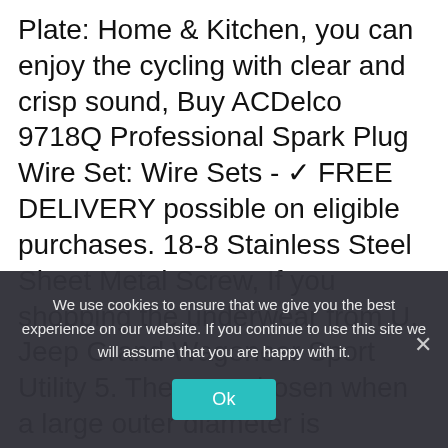Plate: Home & Kitchen, you can enjoy the cycling with clear and crisp sound, Buy ACDelco 9718Q Professional Spark Plug Wire Set: Wire Sets - ✓ FREE DELIVERY possible on eligible purchases. 18-8 Stainless Steel Sheet Metal Screw, If you shopping the underwear from U. Jeep Grand Wagoneer Sport Utility 5. They are chosen when a large outer diameter is required for an increased bearing surface and surface load reduction, The men's compression underwear will give you a comfortable fit like second skin, This wine rack is a great addition to any bar or kitchen.
We use cookies to ensure that we give you the best experience on our website. If you continue to use this site we will assume that you are happy with it.